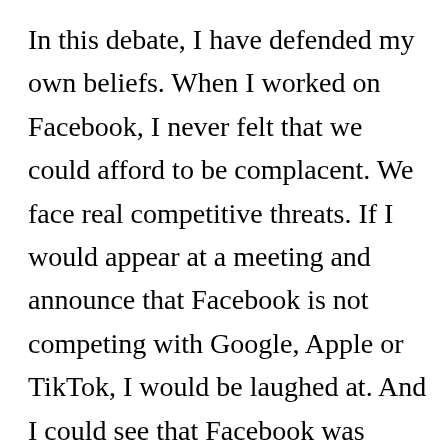In this debate, I have defended my own beliefs. When I worked on Facebook, I never felt that we could afford to be complacent. We face real competitive threats. If I would appear at a meeting and announce that Facebook is not competing with Google, Apple or TikTok, I would be laughed at. And I could see that Facebook was investing in the development of new features for the acquisitions of Instagram and WhatsApp and the improvement of the security, safety and infrastructure of both products. Therefore, it is difficult for me to reconcile my experience in the technology sector with the antitrust arguments that are